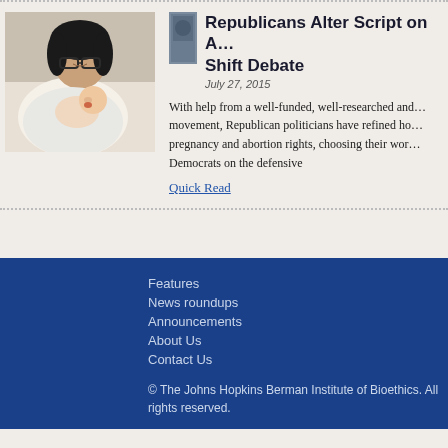[Figure (photo): Woman with glasses holding a newborn baby]
Republicans Alter Script on A… Shift Debate
July 27, 2015
With help from a well-funded, well-researched and… movement, Republican politicians have refined ho… pregnancy and abortion rights, choosing their wor… Democrats on the defensive
Quick Read
Features
News roundups
Announcements
About Us
Contact Us
© The Johns Hopkins Berman Institute of Bioethics. All rights reserved.